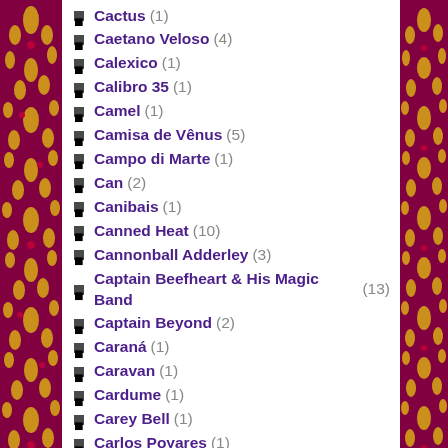Cactus (1)
Caetano Veloso (4)
Calexico (1)
Calibro 35 (1)
Camel (1)
Camisa de Vênus (5)
Campo di Marte (1)
Can (2)
Canibais (1)
Canned Heat (10)
Cannonball Adderley (3)
Captain Beefheart & His Magic Band (13)
Captain Beyond (2)
Caraná (1)
Caravan (1)
Cardume (1)
Carey Bell (1)
Carlos Poyares (1)
Carmen Maki (1)
Cartola (2)
Casa das Máquinas (3)
Cassia Eller (2)